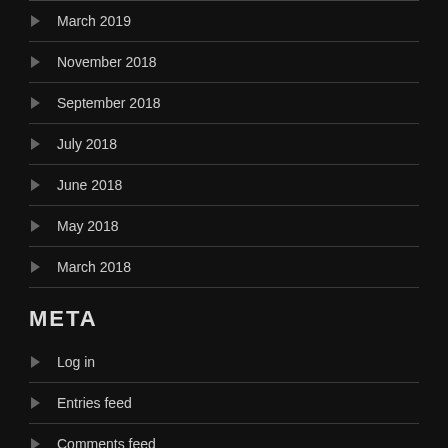March 2019
November 2018
September 2018
July 2018
June 2018
May 2018
March 2018
META
Log in
Entries feed
Comments feed
WordPress.org